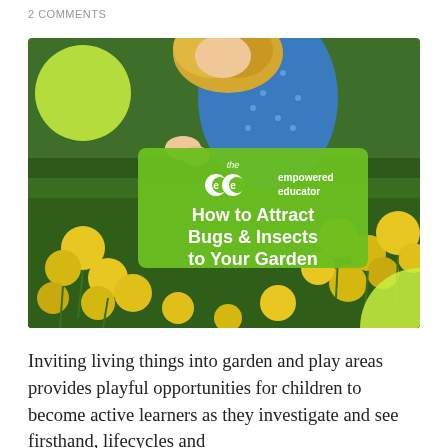2 COMMENTS
[Figure (photo): Child with blonde hair leaning over yellow dandelion flowers in a grass field. Overlaid with green brand banner reading 'the empowered educator — How to Attract Bugs & Insects to Your Garden'. Green circle decorations in corners.]
Inviting living things into garden and play areas provides playful opportunities for children to become active learners as they investigate and see firsthand, lifecycles and